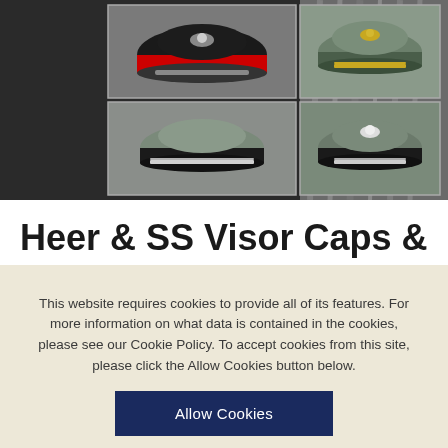[Figure (photo): Grid of four military visor caps (Heer and SS styles) on a dark background with rope/cord visible]
Heer & SS Visor Caps &
This website requires cookies to provide all of its features. For more information on what data is contained in the cookies, please see our Cookie Policy. To accept cookies from this site, please click the Allow Cookies button below.